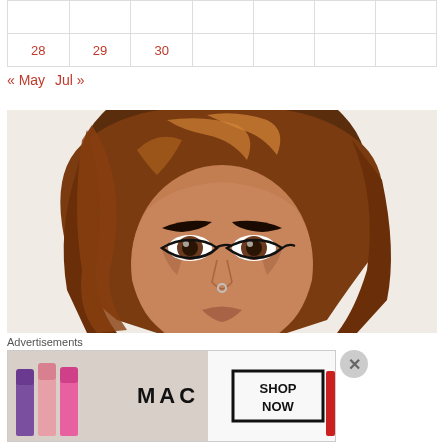|  |  |  |  |  |  |  |
| 28 | 29 | 30 |  |  |  |  |
« May   Jul »
[Figure (illustration): Digital illustration of a woman's face with wavy auburn/brown hair with highlights, thick eyebrows, heavy eyeliner, brown eyes, and a nose ring. Art style is realistic digital painting on light grey/white background.]
Advertisements
[Figure (other): MAC cosmetics advertisement banner showing several lipsticks in purple, pink, and red shades on the left, MAC logo in the center, and a 'SHOP NOW' box on the right.]